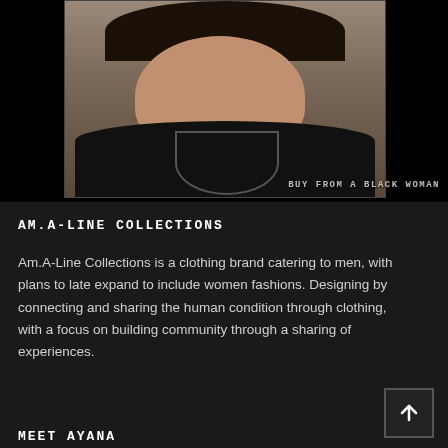[Figure (photo): Portrait of a Black woman with short curly hair wearing a black sleeveless top and layered necklaces. Watermark text reads: BUY FROM A BLACK WOMAN]
AM.A-LINE COLLECTIONS
Am.A-Line Collections is a clothing brand catering to men, with plans to late expand to include women fashions. Designing by connecting and sharing the human condition through clothing, with a focus on building community through a sharing of experiences.
MEET AYANA